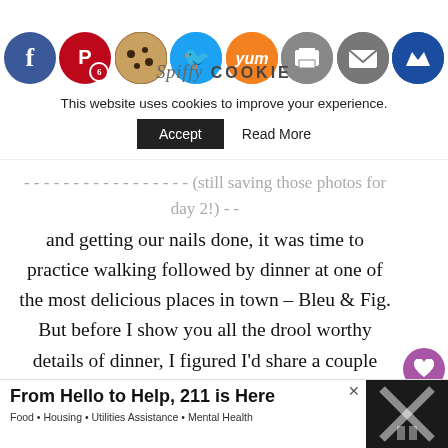Social sharing icons: Facebook, Pinterest (6), Cookie/Twitter, Twitter, Yum, Print, Mail, Crown
[Figure (screenshot): Spiffy Cookie website header with social sharing icons and logo]
This website uses cookies to improve your experience. Accept   Read More
...bridesmaids (still saving those photos for day 2!) and getting our nails done, it was time to practice walking followed by dinner at one of the most delicious places in town – Bleu & Fig. But before I show you all the drool worthy details of dinner, I figured I'd share a couple photos from the rehearsal.
[Figure (photo): Outdoor photo showing people at a rehearsal, trees in background, person with purple hair visible]
[Figure (screenshot): What's Next panel showing Blueberry Blondie... with thumbnail image]
[Figure (screenshot): Advertisement banner: From Hello to Help, 211 is Here. Food • Housing • Utilities Assistance • Mental Health]